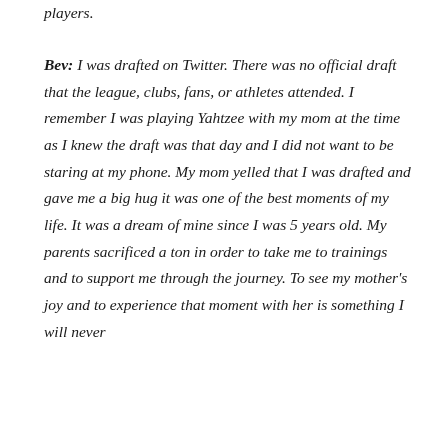players.
Bev: I was drafted on Twitter. There was no official draft that the league, clubs, fans, or athletes attended. I remember I was playing Yahtzee with my mom at the time as I knew the draft was that day and I did not want to be staring at my phone. My mom yelled that I was drafted and gave me a big hug it was one of the best moments of my life. It was a dream of mine since I was 5 years old. My parents sacrificed a ton in order to take me to trainings and to support me through the journey. To see my mother's joy and to experience that moment with her is something I will never